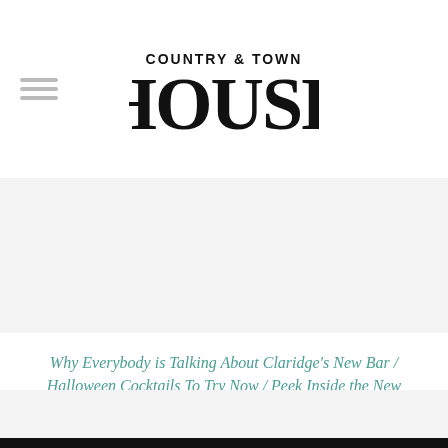COUNTRY & TOWN HOUSE
Why Everybody is Talking About Claridge's New Bar / Halloween Cocktails To Try Now / Peek Inside the New Suites at Claridge's
TOPICS: COCKTAIL RECIPES   COCKTAILS   RECIPES